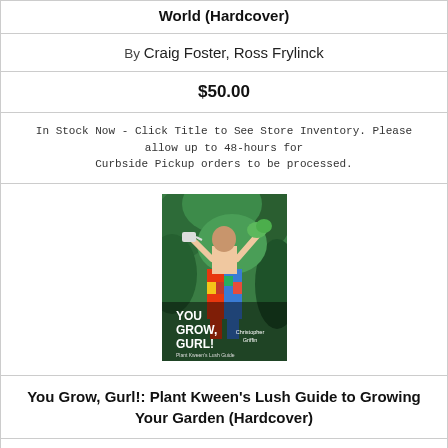World (Hardcover)
By Craig Foster, Ross Frylinck
$50.00
In Stock Now - Click Title to See Store Inventory. Please allow up to 48-hours for Curbside Pickup orders to be processed.
[Figure (photo): Book cover of 'You Grow, Gurl!: Plant Kween's Lush Guide to Growing Your Garden' by Christopher Griffin, showing a person in colorful pants holding plants in a garden setting.]
You Grow, Gurl!: Plant Kween's Lush Guide to Growing Your Garden (Hardcover)
By Christopher Griffin
$30.00